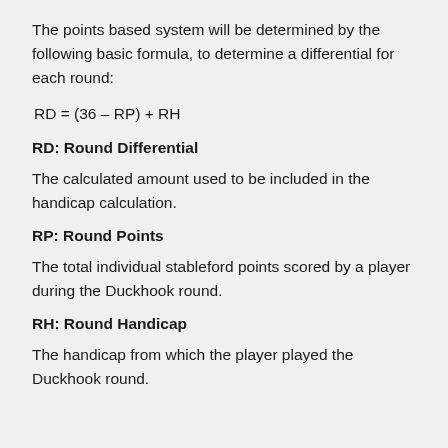The points based system will be determined by the following basic formula, to determine a differential for each round:
RD: Round Differential
The calculated amount used to be included in the handicap calculation.
RP: Round Points
The total individual stableford points scored by a player during the Duckhook round.
RH: Round Handicap
The handicap from which the player played the Duckhook round.